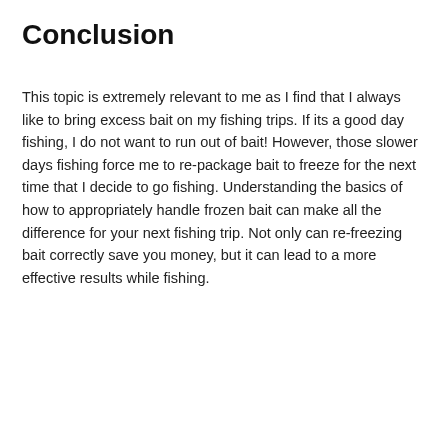Conclusion
This topic is extremely relevant to me as I find that I always like to bring excess bait on my fishing trips. If its a good day fishing, I do not want to run out of bait! However, those slower days fishing force me to re-package bait to freeze for the next time that I decide to go fishing. Understanding the basics of how to appropriately handle frozen bait can make all the difference for your next fishing trip. Not only can re-freezing bait correctly save you money, but it can lead to a more effective results while fishing.
[Figure (infographic): Like button (blue circle with heart icon), count of 1, and share button (light circle with share icon)]